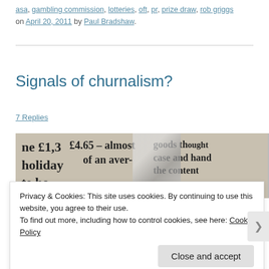asa, gambling commission, lotteries, oft, pr, prize draw, rob griggs on April 20, 2011 by Paul Bradshaw.
Signals of churnalism?
7 Replies
[Figure (photo): Close-up photograph of a newspaper page showing text fragments about a holiday prize/goods.]
Privacy & Cookies: This site uses cookies. By continuing to use this website, you agree to their use. To find out more, including how to control cookies, see here: Cookie Policy